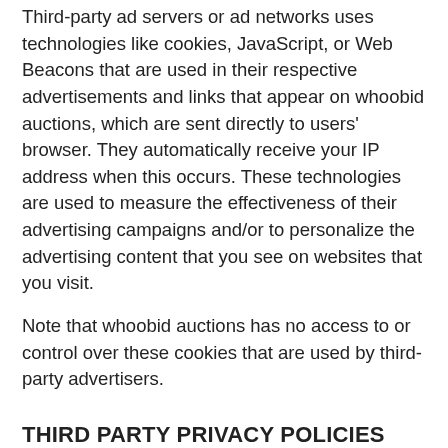Third-party ad servers or ad networks uses technologies like cookies, JavaScript, or Web Beacons that are used in their respective advertisements and links that appear on whoobid auctions, which are sent directly to users' browser. They automatically receive your IP address when this occurs. These technologies are used to measure the effectiveness of their advertising campaigns and/or to personalize the advertising content that you see on websites that you visit.
Note that whoobid auctions has no access to or control over these cookies that are used by third-party advertisers.
THIRD PARTY PRIVACY POLICIES
whoobid auctions's Privacy Policy does not apply to other advertisers or websites. Thus, we are advising you to consult the respective Privacy Policies of these third-party ad servers for more detailed information. It may include their practices and instructions about how to opt-out of certain options. You may find a complete list of these